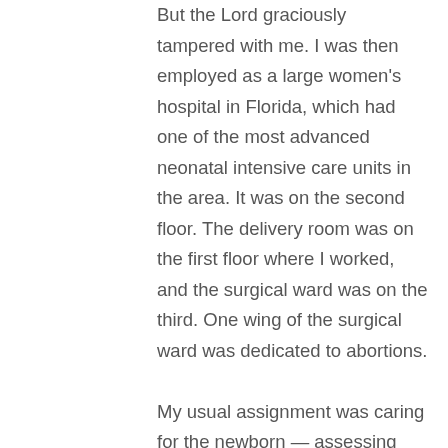But the Lord graciously tampered with me. I was then employed as a large women's hospital in Florida, which had one of the most advanced neonatal intensive care units in the area. It was on the second floor. The delivery room was on the first floor where I worked, and the surgical ward was on the third. One wing of the surgical ward was dedicated to abortions.

My usual assignment was caring for the newborn — assessing their vital signs, eating habits, feeding and bathing them. One evening, however, there was a shortage of staff on the third floor, and the supervisor